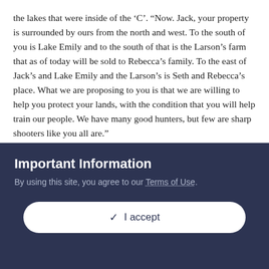the lakes that were inside of the ‘C’. “Now. Jack, your property is surrounded by ours from the north and west. To the south of you is Lake Emily and to the south of that is the Larson’s farm that as of today will be sold to Rebecca’s family. To the east of Jack’s and Lake Emily and the Larson’s is Seth and Rebecca’s place. What we are proposing to you is that we are willing to help you protect your lands, with the condition that you will help train our people. We have many good hunters, but few are sharp shooters like you all are.”
Jack and Seth looked at each other. They had hunted and shot together many times before. They knew each other’s strengths and weaknesses pretty well, so they made a good team.
Jack nodded as Seth answered “That sounds like a good deal to us! We will train your people and this way we can all help protect
Important Information
By using this site, you agree to our Terms of Use.
✓ I accept